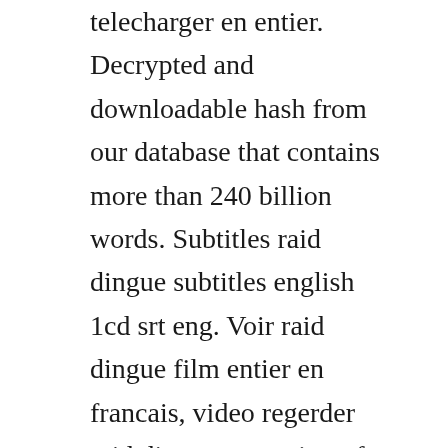telecharger en entier. Decrypted and downloadable hash from our database that contains more than 240 billion words. Subtitles raid dingue subtitles english 1cd srt eng. Voir raid dingue film entier en francais, video regerder raid dingue streaming vf youwacth, voir raid dingue streaming vf vk en francais,voir raid dingue streaming vf film complet, regarder film complet raid dingue en streaming vf et full stream, en tres bonne qualite video, telecharger raid dingue gratuitement. Bandwidth analyzer pack analyzes hopbyhop performance onpremise,